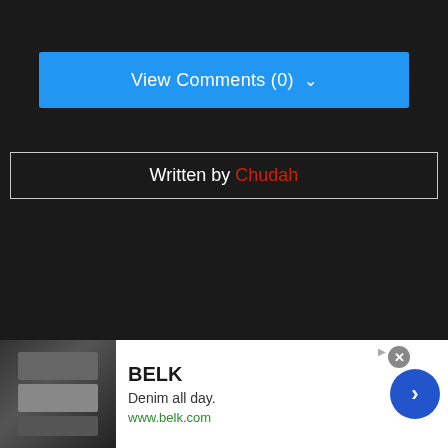View Comments (0)
Written by Chudah
Yekbot
[Figure (screenshot): Advertisement banner for BELK with tagline 'Denim all day.' and website www.belk.com, showing fashion images on the left and a navigation arrow on the right]